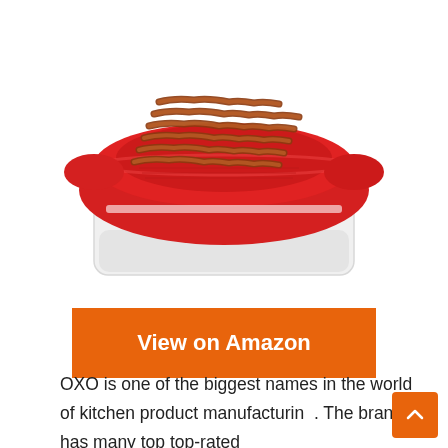[Figure (photo): A red silicone microwave bacon cooker tray with cooked bacon strips on top, sitting on a white rectangular base container, photographed on a white background.]
View on Amazon
OXO is one of the biggest names in the world of kitchen product manufacturing. The brand has many top top-rated